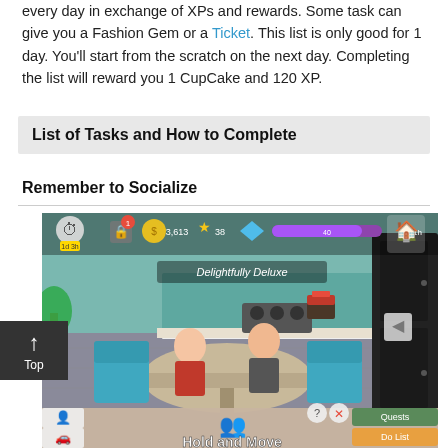Daily To Do List is a checklist of your task that you can accomplish every day in exchange of XPs and rewards. Some task can give you a Fashion Gem or a Ticket. This list is only good for 1 day. You'll start from the scratch on the next day. Completing the list will reward you 1 CupCake and 120 XP.
List of Tasks and How to Complete
Remember to Socialize
[Figure (screenshot): Screenshot of The Sims Mobile game showing two Sims sitting at a dining table in a modern kitchen. Game UI visible with currency counters, a purple progress bar, and 'Hold and Move' tooltip at the bottom. A black refrigerator is visible on the right side.]